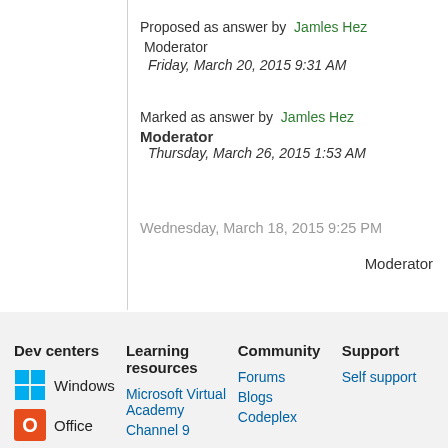Proposed as answer by  Jamles Hez  Moderator
Friday, March 20, 2015 9:31 AM
Marked as answer by  Jamles Hez  Moderator
Thursday, March 26, 2015 1:53 AM
Wednesday, March 18, 2015 9:25 PM
Moderator
Dev centers  Learning resources  Community  Support
Windows  Microsoft Virtual Academy  Forums  Self support
Office  Channel 9  Blogs
Codeplex